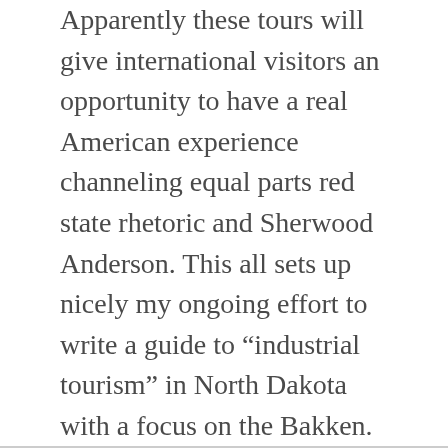Apparently these tours will give international visitors an opportunity to have a real American experience channeling equal parts red state rhetoric and Sherwood Anderson. This all sets up nicely my ongoing effort to write a guide to “industrial tourism” in North Dakota with a focus on the Bakken.
Over the past couple of weeks I’ve used spare moments to work on my tourist guide and I’m making progress in describing various places in the Bakken. As with most of my spontaneous writing projects, my plan was half-baked. So now I’m stuck with 5000 words that provides